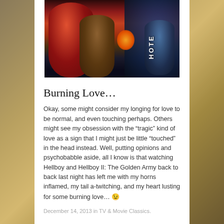[Figure (photo): Movie poster image for Hellboy II: The Golden Army showing a red-skinned muscular figure on the left, a female figure in the center holding a glowing orb, text 'HOTE' visible on the right side, dark blue sci-fi background]
Burning Love…
Okay, some might consider my longing for love to be normal, and even touching perhaps. Others might see my obsession with the “tragic” kind of love as a sign that I might just be little “touched” in the head instead. Well, putting opinions and psychobabble aside, all I know is that watching Hellboy and Hellboy II: The Golden Army back to back last night has left me with my horns inflamed, my tail a-twitching, and my heart lusting for some burning love… 😉
December 14, 2013 in TV & Movie Classics.